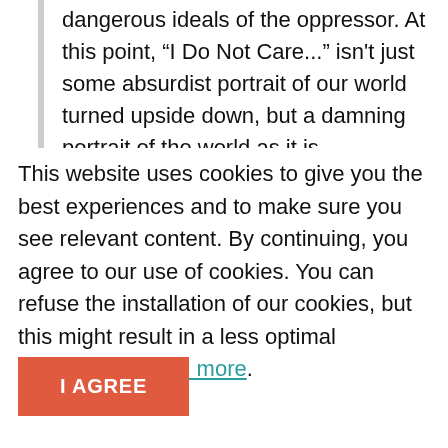dangerous ideals of the oppressor. At this point, “I Do Not Care...” isn't just some absurdist portrait of our world turned upside down, but a damning portrait of the world as it is.
This website uses cookies to give you the best experiences and to make sure you see relevant content. By continuing, you agree to our use of cookies. You can refuse the installation of our cookies, but this might result in a less optimal experience. Read more.
I AGREE